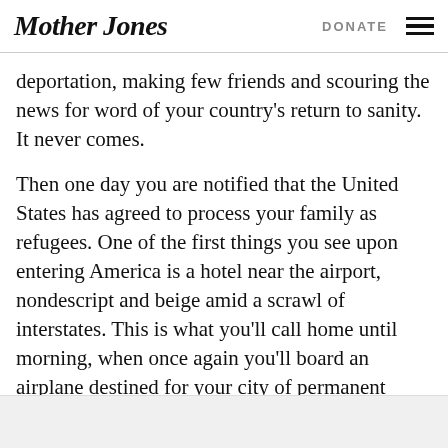Mother Jones | DONATE
deportation, making few friends and scouring the news for word of your country's return to sanity. It never comes.
Then one day you are notified that the United States has agreed to process your family as refugees. One of the first things you see upon entering America is a hotel near the airport, nondescript and beige amid a scrawl of interstates. This is what you'll call home until morning, when once again you'll board an airplane destined for your city of permanent resettlement in America.